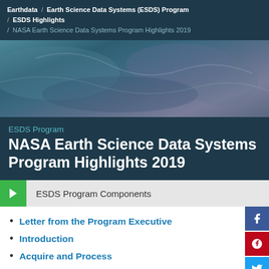Earthdata / Earth Science Data Systems (ESDS) Program / ESDS Highlights / NASA Earth Science Data Systems Program Highlights 2019
[Figure (photo): Satellite imagery of Earth's surface showing ocean and atmospheric patterns in blue-teal tones]
ESDS Program
NASA Earth Science Data Systems Program Highlights 2019
ESDS Program Components
Letter from the Program Executive
Introduction
Acquire and Process
Deliver Data and Imagery